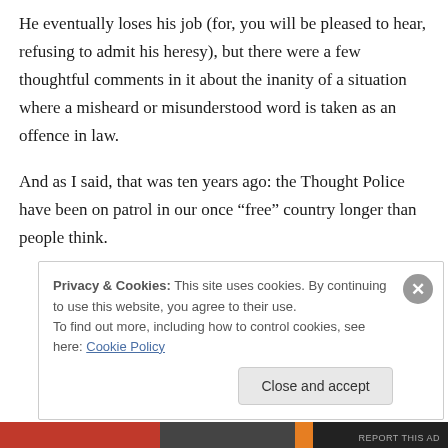He eventually loses his job (for, you will be pleased to hear, refusing to admit his heresy), but there were a few thoughtful comments in it about the inanity of a situation where a misheard or misunderstood word is taken as an offence in law.
And as I said, that was ten years ago: the Thought Police have been on patrol in our once “free” country longer than people think.
Privacy & Cookies: This site uses cookies. By continuing to use this website, you agree to their use.
To find out more, including how to control cookies, see here: Cookie Policy